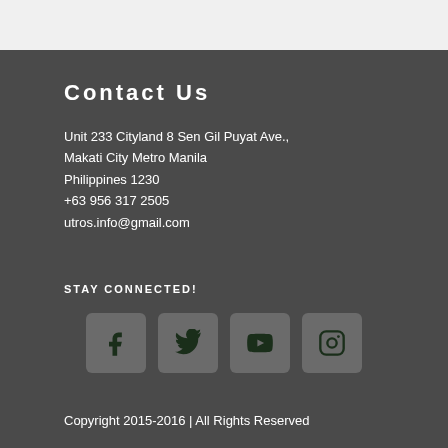Contact Us
Unit 233 Cityland 8 Sen Gil Puyat Ave.,
Makati City Metro Manila
Philippines 1230
+63 956 317 2505
utros.info@gmail.com
STAY CONNECTED!
[Figure (infographic): Four social media icon buttons: Facebook, Twitter, YouTube, Instagram]
Copyright 2015-2016 | All Rights Reserved